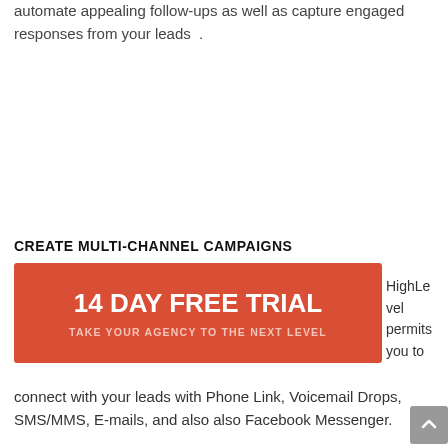automate appealing follow-ups as well as capture engaged responses from your leads .
CREATE MULTI-CHANNEL CAMPAIGNS
[Figure (infographic): Red CTA banner reading '14 DAY FREE TRIAL' with subtitle 'TAKE YOUR AGENCY TO THE NEXT LEVEL']
HighLevel permits you to connect with your leads with Phone Link, Voicemail Drops, SMS/MMS, E-mails, and also also Facebook Messenger.